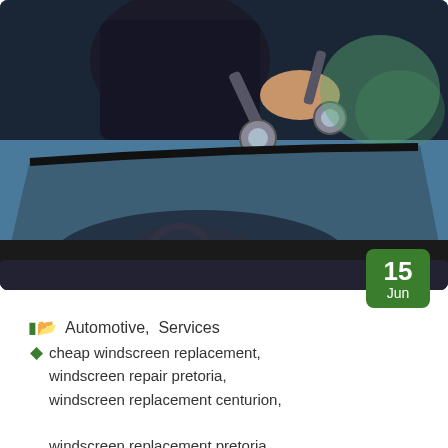[Figure (photo): A person replacing or lifting a car windscreen using suction cup tools. The worker is wearing dark clothing and using professional windscreen removal/installation equipment. The car's dashboard and interior are visible through the glass.]
🗁 Automotive, Services
🏷 cheap windscreen replacement, windscreen repair pretoria, windscreen replacement centurion,
windscreen replacement pretoria
10 Steps To Replace A Car Windscreen